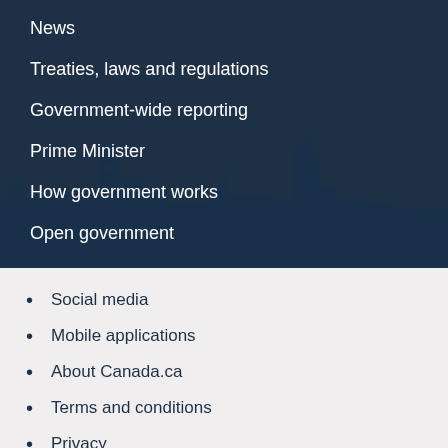News
Treaties, laws and regulations
Government-wide reporting
Prime Minister
How government works
Open government
[Figure (illustration): Silhouette of Parliament Hill buildings (clock tower and Peace Tower) against the dark blue background]
Social media
Mobile applications
About Canada.ca
Terms and conditions
Privacy